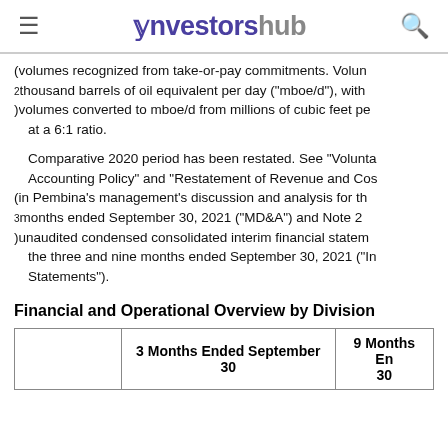investorshub
(volumes recognized from take-or-pay commitments. Volun
2 thousand barrels of oil equivalent per day ("mboe/d"), with
) volumes converted to mboe/d from millions of cubic feet per at a 6:1 ratio.
Comparative 2020 period has been restated. See "Volunta Accounting Policy" and "Restatement of Revenue and Cos
(in Pembina's management's discussion and analysis for th
3 months ended September 30, 2021 ("MD&A") and Note 2
) unaudited condensed consolidated interim financial statem the three and nine months ended September 30, 2021 ("In Statements").
Financial and Operational Overview by Division
|  | 3 Months Ended September 30 | 9 Months En 30 |
| --- | --- | --- |